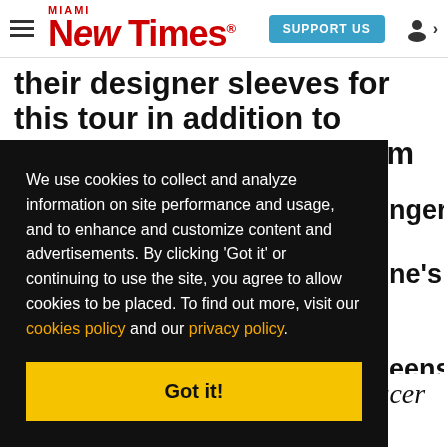Miami New Times | SUPPORT US
their designer sleeves for this tour in addition to Jeremih's upcoming album release at the end
We use cookies to collect and analyze information on site performance and usage, and to enhance and customize content and advertisements. By clicking 'Got it' or continuing to use the site, you agree to allow cookies to be placed. To find out more, visit our cookies policy and our privacy policy.
Got it!
an R&B singer, but I was a producer at first